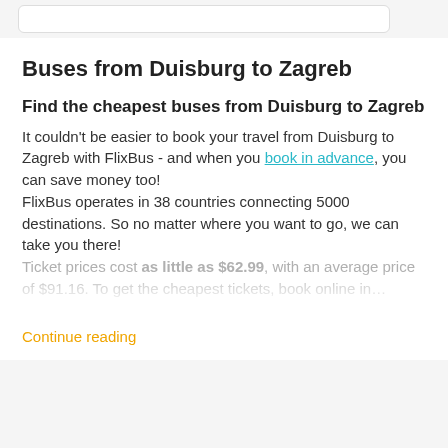Buses from Duisburg to Zagreb
Find the cheapest buses from Duisburg to Zagreb
It couldn't be easier to book your travel from Duisburg to Zagreb with FlixBus - and when you book in advance, you can save money too!
FlixBus operates in 38 countries connecting 5000 destinations. So no matter where you want to go, we can take you there!
Ticket prices cost as little as $62.99, with an average price of $91.16. To get the cheapest tickets, book online in…
Continue reading